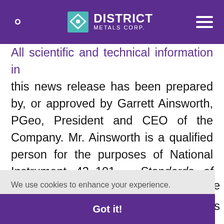District Metals Corp. — website header with search, logo, and menu
All scientific and technical information in this news release has been prepared by, or approved by Garrett Ainsworth, PGeo, President and CEO of the Company. Mr. Ainsworth is a qualified person for the purposes of National Instrument 43-101 – Standards of Disclosure for Mineral
We use cookies to enhance your experience. By continuing to visit this site you agree to our use of cookies. Learn more
Got it!
other properties referred to herein is not